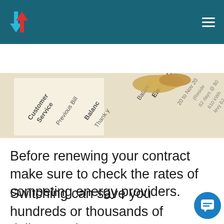[Figure (logo): Navigation header with logo (blue down arrow and red up arrow), and hamburger menu icon on teal background]
[Figure (other): Search bar with 'Enter Zip code' input field and orange 'View Rates' button on teal background]
[Figure (photo): Photo of an electric utility bill showing text: Customer Service, Previous Bill, Balance, Thank you, Electric Charges, Balance, Sep 20 to Nov 20, (Residential), charge: 62 days @ $0, S10 kWh, levy, 62]
Before renewing your contract make sure to check the rates of competing energy providers.
Switching can save you hundreds or thousands of dollars each year on your energy bill.